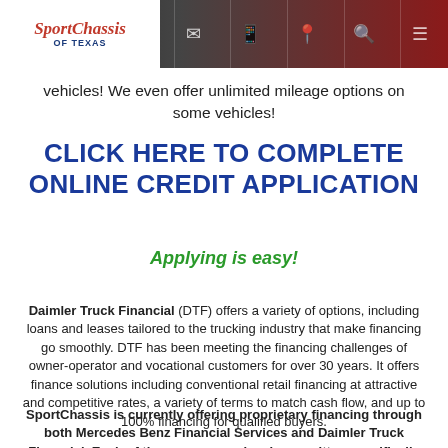SportChassis of Texas
vehicles! We even offer unlimited mileage options on some vehicles!
CLICK HERE TO COMPLETE ONLINE CREDIT APPLICATION
Applying is easy!
Daimler Truck Financial (DTF) offers a variety of options, including loans and leases tailored to the trucking industry that make financing go smoothly. DTF has been meeting the financing challenges of owner-operator and vocational customers for over 30 years. It offers finance solutions including conventional retail financing at attractive and competitive rates, a variety of terms to match cash flow, and up to 100% financing for qualified buyers.
SportChassis is currently offering proprietary financing through both Mercedes Benz Financial Services and Daimler Truck Financial. Each of these programs has been written specifically